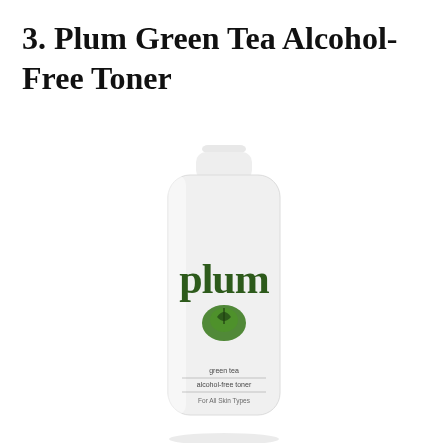3. Plum Green Tea Alcohol-Free Toner
[Figure (photo): Product photo of Plum Green Tea Alcohol-Free Toner bottle — a white cylindrical bottle with a white flip-top cap, displaying the 'plum' brand name in dark green stylized lowercase letters with a plum/leaf logo, and small text reading 'green tea alcohol-free toner' near the bottom.]